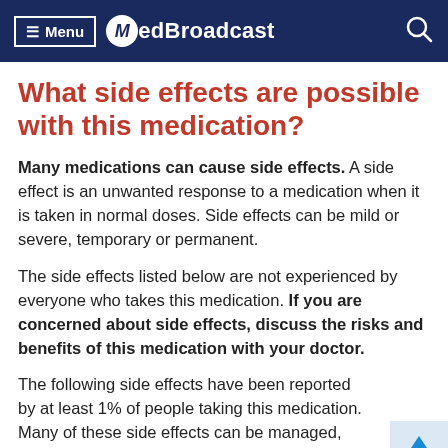≡ Menu | MedBroadcast
What side effects are possible with this medication?
Many medications can cause side effects. A side effect is an unwanted response to a medication when it is taken in normal doses. Side effects can be mild or severe, temporary or permanent.
The side effects listed below are not experienced by everyone who takes this medication. If you are concerned about side effects, discuss the risks and benefits of this medication with your doctor.
The following side effects have been reported by at least 1% of people taking this medication. Many of these side effects can be managed, and some may go away on their own over time.